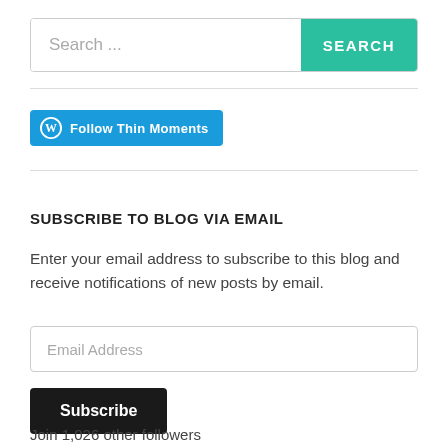[Figure (screenshot): Search bar with text input placeholder 'Search ...' and a teal SEARCH button]
[Figure (screenshot): WordPress 'Follow Thin Moments' button in blue]
SUBSCRIBE TO BLOG VIA EMAIL
Enter your email address to subscribe to this blog and receive notifications of new posts by email.
[Figure (screenshot): Email Address input field]
[Figure (screenshot): Subscribe button in black]
Join 1,026 other followers